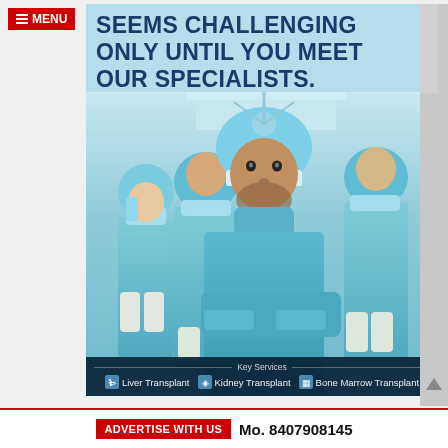[Figure (photo): Medical advertisement showing surgeons in blue scrubs and surgical masks in an operating room, with bold headline text. Key Services listed: Liver Transplant, Kidney Transplant, Bone Marrow Transplant.]
SEEMS CHALLENGING ONLY UNTIL YOU MEET OUR SPECIALISTS.
Key Services
Liver Transplant
Kidney Transplant
Bone Marrow Transplant
ADVERTISE WITH US  Mo. 8407908145